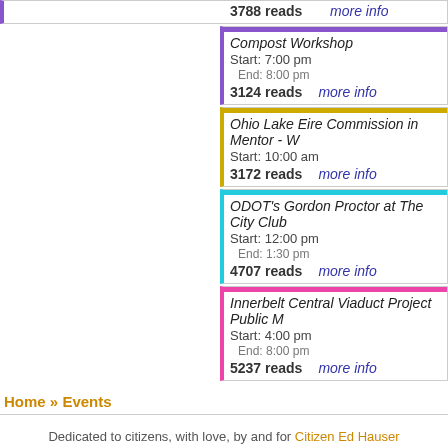3788 reads   more info
Compost Workshop
Start: 7:00 pm
End: 8:00 pm
3124 reads   more info
Ohio Lake Eire Commission in Mentor - W
Start: 10:00 am
3172 reads   more info
ODOT's Gordon Proctor at The City Club
Start: 12:00 pm
End: 1:30 pm
4707 reads   more info
Innerbelt Central Viaduct Project Public M
Start: 4:00 pm
End: 8:00 pm
5237 reads   more info
Home » Events
Dedicated to citizens, with love, by and for Citizen Ed Hauser
Real.coop ·:· P.O. Box 20046 ·:· Cleveland, OH 44120
Privacy Policy and Terms of Use